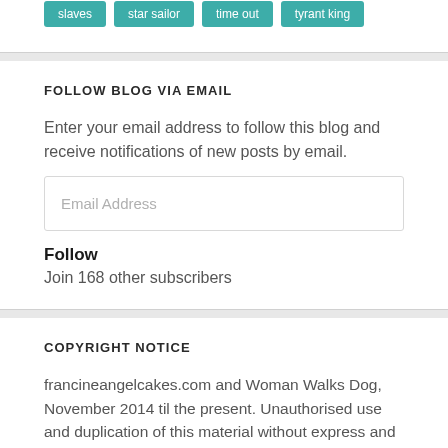slaves
star sailor
time out
tyrant king
FOLLOW BLOG VIA EMAIL
Enter your email address to follow this blog and receive notifications of new posts by email.
Follow
Join 168 other subscribers
COPYRIGHT NOTICE
francineangelcakes.com and Woman Walks Dog, November 2014 til the present. Unauthorised use and duplication of this material without express and written permission from this blog's author and owner is strictly prohibited. Excerpts and links may be used, provided that full and clear credit is given to francineangelcakes.com